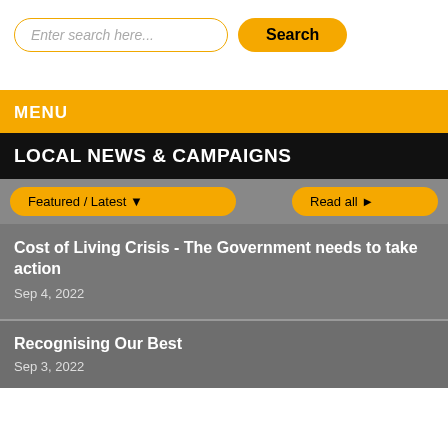Enter search here...
Search
MENU
LOCAL NEWS & CAMPAIGNS
Featured / Latest ▼
Read all ►
Cost of Living Crisis - The Government needs to take action
Sep 4, 2022
Recognising Our Best
Sep 3, 2022